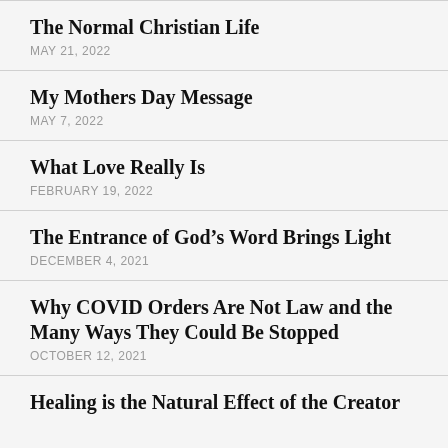The Normal Christian Life
MAY 21, 2022
My Mothers Day Message
MAY 7, 2022
What Love Really Is
FEBRUARY 19, 2022
The Entrance of God’s Word Brings Light
DECEMBER 4, 2021
Why COVID Orders Are Not Law and the Many Ways They Could Be Stopped
OCTOBER 12, 2021
Healing is the Natural Effect of the Creator